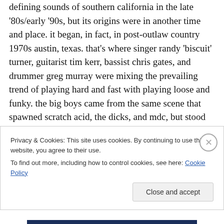defining sounds of southern california in the late '80s/early '90s, but its origins were in another time and place. it began, in fact, in post-outlaw country 1970s austin, texas. that's where singer randy 'biscuit' turner, guitarist tim kerr, bassist chris gates, and drummer greg murray were mixing the prevailing trend of playing hard and fast with playing loose and funky. the big boys came from the same scene that spawned scratch acid, the dicks, and mdc, but stood out with music that ventured far beyond post-punk angularities and hardcore machismo. originally released on the wasted talent label, their debut album is a classic of
Privacy & Cookies: This site uses cookies. By continuing to use this website, you agree to their use.
To find out more, including how to control cookies, see here: Cookie Policy
Close and accept